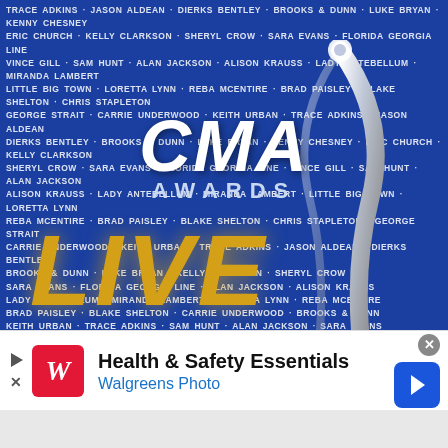[Figure (photo): CMA Awards Live promotional image with blue background, artist names in white text repeated throughout, silver CMA Awards logo in center, and LIVE in gold letters at bottom]
Health & Safety Essentials Walgreens Photo